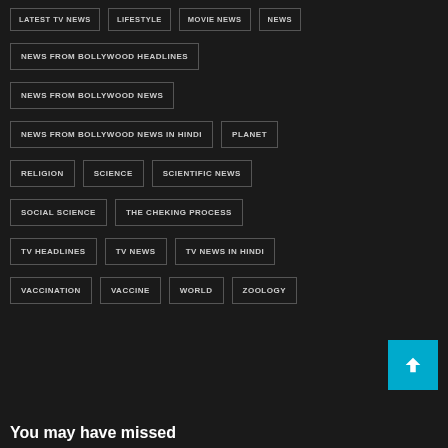LATEST TV NEWS
LIFESTYLE
MOVIE NEWS
NEWS
NEWS FROM BOLLYWOOD HEADLINES
NEWS FROM BOLLYWOOD NEWS
NEWS FROM BOLLYWOOD NEWS IN HINDI
PLANET
RELIGION
SCIENCE
SCIENTIFIC NEWS
SOCIAL SCIENCE
THE CHEKING PROCESS
TV HEADLINES
TV NEWS
TV NEWS IN HINDI
VACCINATION
VACCINE
WORLD
ZOOLOGY
You may have missed